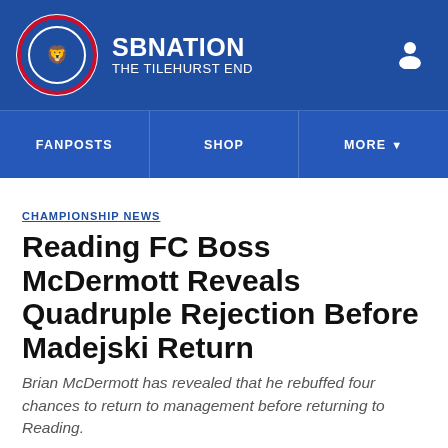SBNation — The Tilehurst End
CHAMPIONSHIP NEWS
Reading FC Boss McDermott Reveals Quadruple Rejection Before Madejski Return
Brian McDermott has revealed that he rebuffed four chances to return to management before returning to Reading.
By Marc Mayo | Dec 23, 2015, 3:52pm GMT